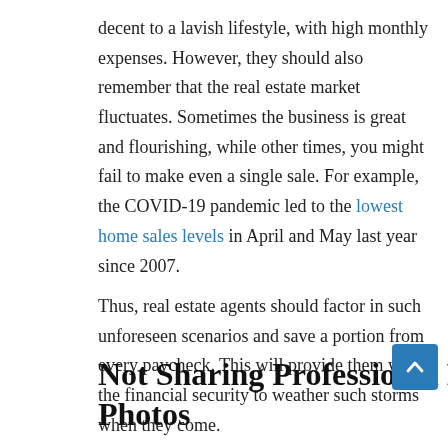decent to a lavish lifestyle, with high monthly expenses. However, they should also remember that the real estate market fluctuates. Sometimes the business is great and flourishing, while other times, you might fail to make even a single sale. For example, the COVID-19 pandemic led to the lowest home sales levels in April and May last year since 2007.
Thus, real estate agents should factor in such unforeseen scenarios and save a portion from every paycheck. This will provide them with the financial security to weather such storms when they come.
Not Sharing Professional Property Photos